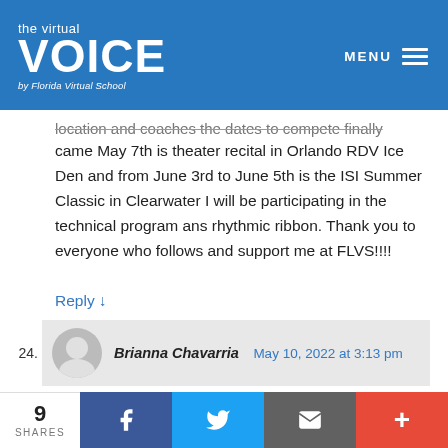[Figure (logo): The Virtual VOICE by Florida Virtual School logo on blue background with MENU hamburger icon]
location and coaches the dates to compete finally came May 7th is theater recital in Orlando RDV Ice Den and from June 3rd to June 5th is the ISI Summer Classic in Clearwater I will be participating in the technical program ans rhythmic ribbon. Thank you to everyone who follows and support me at FLVS!!!!
Reply ↓
24.  Brianna Chavarria  May 10, 2022 at 3:13 pm
Hi, Iberia! I might be a little late with the comment. But this story really made my day. don't stop with your passions. I may not do speed skating or most
9 SHARES  [Facebook] [Twitter] [Email] [+]